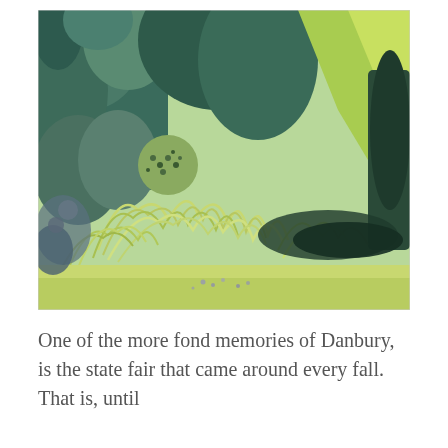[Figure (illustration): A colored pencil or crayon drawing of a lush garden scene with sweeping grass, dense green foliage, trees with blue-green and yellow-green hues, and a shaded dark area suggesting a path or water in the background.]
One of the more fond memories of Danbury, is the state fair that came around every fall. That is, until